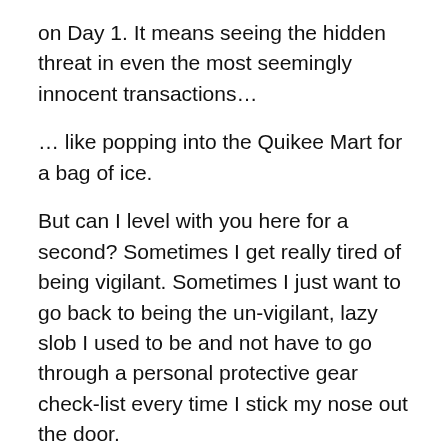on Day 1. It means seeing the hidden threat in even the most seemingly innocent transactions…
… like popping into the Quikee Mart for a bag of ice.
But can I level with you here for a second? Sometimes I get really tired of being vigilant. Sometimes I just want to go back to being the un-vigilant, lazy slob I used to be and not have to go through a personal protective gear check-list every time I stick my nose out the door.
From the sounds of the verse above, I think Jesus recognized the potential for the same kind of lassitude to creep into our spiritual lives. He knew the strength of the gravitational pull of our habit of sleepwalking through life. He knew that without an on-going commitment to vigilance in actively nurturing our connection with the Ground of our Being, our Spirit will soon close down and shrink back into